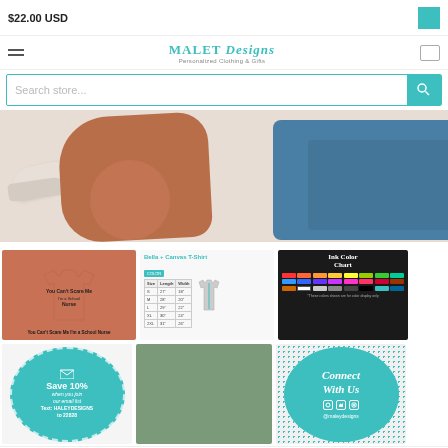$22.00 USD
[Figure (screenshot): MALET Designs – Personalized Clothing & Gifts nav bar with hamburger menu, logo, and cart icon]
[Figure (screenshot): Search store... search bar with teal search button]
[Figure (photo): Hero banner showing shoes, rust-colored fabric/clothing, and denim jeans arranged on white surface]
[Figure (photo): Product photo: mauve/dusty rose t-shirt with 'You Can't Scare Me I'm a School Nurse' text graphic]
[Figure (screenshot): Bella + Canvas T-Shirt size chart card with size table and t-shirt diagram]
[Figure (infographic): Ink Color Chart on dark background showing color swatches]
[Figure (infographic): Teal circle badge: Save 10% when you join our email list. Text: MALEYDESIGNS to 22828]
[Figure (photo): Storefront exterior photo with arched windows and autumn tree]
[Figure (infographic): Connect With Us teal circle with social media icons and @maleydesigns handle]